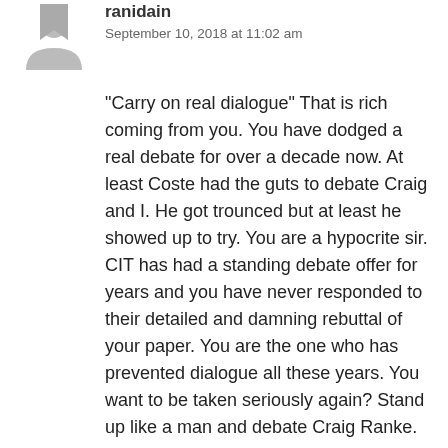[Figure (illustration): Gray avatar/user icon placeholder]
ranidain
September 10, 2018 at 11:02 am
“Carry on real dialogue” That is rich coming from you. You have dodged a real debate for over a decade now. At least Coste had the guts to debate Craig and I. He got trounced but at least he showed up to try. You are a hypocrite sir. CIT has had a standing debate offer for years and you have never responded to their detailed and damning rebuttal of your paper. You are the one who has prevented dialogue all these years. You want to be taken seriously again? Stand up like a man and debate Craig Ranke.